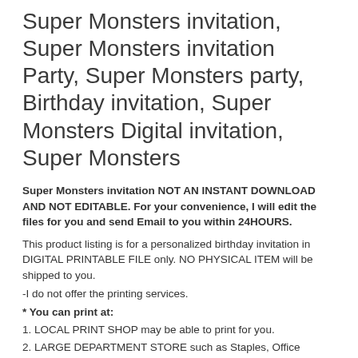Super Monsters invitation, Super Monsters invitation Party, Super Monsters party, Birthday invitation, Super Monsters Digital invitation, Super Monsters
Super Monsters invitation NOT AN INSTANT DOWNLOAD AND NOT EDITABLE. For your convenience, I will edit the files for you and send Email to you within 24HOURS.
This product listing is for a personalized birthday invitation in DIGITAL PRINTABLE FILE only. NO PHYSICAL ITEM will be shipped to you.
-I do not offer the printing services.
* You can print at:
1. LOCAL PRINT SHOP may be able to print for you.
2. LARGE DEPARTMENT STORE such as Staples, Office